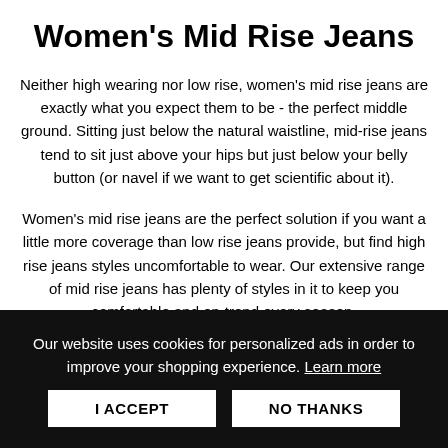Women's Mid Rise Jeans
Neither high wearing nor low rise, women's mid rise jeans are exactly what you expect them to be - the perfect middle ground. Sitting just below the natural waistline, mid-rise jeans tend to sit just above your hips but just below your belly button (or navel if we want to get scientific about it).
Women's mid rise jeans are the perfect solution if you want a little more coverage than low rise jeans provide, but find high rise jeans styles uncomfortable to wear. Our extensive range of mid rise jeans has plenty of styles in it to keep you comfortable and on-trend every season.
Our website uses cookies for personalized ads in order to improve your shopping experience. Learn more
I ACCEPT   NO THANKS